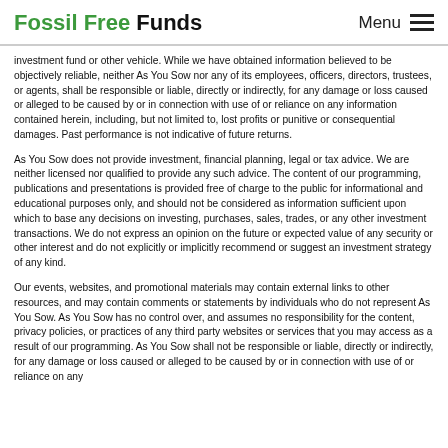Fossil Free Funds   Menu
investment fund or other vehicle. While we have obtained information believed to be objectively reliable, neither As You Sow nor any of its employees, officers, directors, trustees, or agents, shall be responsible or liable, directly or indirectly, for any damage or loss caused or alleged to be caused by or in connection with use of or reliance on any information contained herein, including, but not limited to, lost profits or punitive or consequential damages. Past performance is not indicative of future returns.
As You Sow does not provide investment, financial planning, legal or tax advice. We are neither licensed nor qualified to provide any such advice. The content of our programming, publications and presentations is provided free of charge to the public for informational and educational purposes only, and should not be considered as information sufficient upon which to base any decisions on investing, purchases, sales, trades, or any other investment transactions. We do not express an opinion on the future or expected value of any security or other interest and do not explicitly or implicitly recommend or suggest an investment strategy of any kind.
Our events, websites, and promotional materials may contain external links to other resources, and may contain comments or statements by individuals who do not represent As You Sow. As You Sow has no control over, and assumes no responsibility for the content, privacy policies, or practices of any third party websites or services that you may access as a result of our programming. As You Sow shall not be responsible or liable, directly or indirectly, for any damage or loss caused or alleged to be caused by or in connection with use of or reliance on any